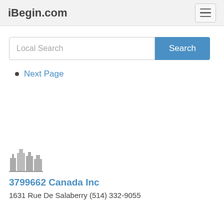iBegin.com
Next Page
[Figure (illustration): Generic building/factory skyline icon in grey]
3799662 Canada Inc
1631 Rue De Salaberry (514) 332-9055